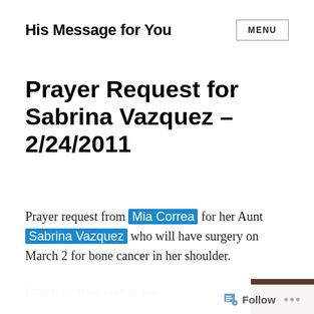His Message for You  MENU
Prayer Request for Sabrina Vazquez – 2/24/2011
Prayer request from Mia Correa for her Aunt Sabrina Vazquez who will have surgery on March 2 for bone cancer in her shoulder.
Father, we have faith in you...
Follow